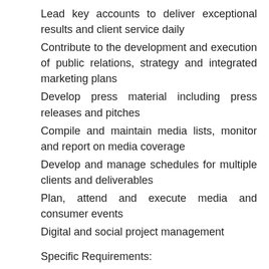Lead key accounts to deliver exceptional results and client service daily
Contribute to the development and execution of public relations, strategy and integrated marketing plans
Develop press material including press releases and pitches
Compile and maintain media lists, monitor and report on media coverage
Develop and manage schedules for multiple clients and deliverables
Plan, attend and execute media and consumer events
Digital and social project management
Specific Requirements: